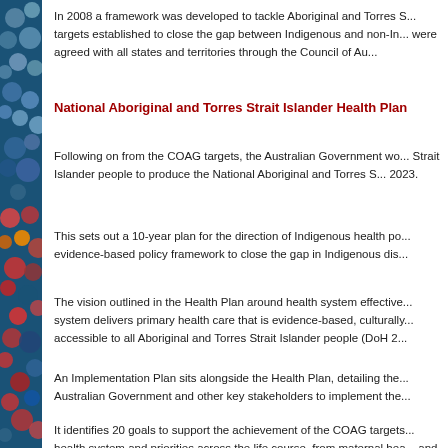In 2008 a framework was developed to tackle Aboriginal and Torres S... targets established to close the gap between Indigenous and non-In... were agreed with all states and territories through the Council of Au...
National Aboriginal and Torres Strait Islander Health Plan
Following on from the COAG targets, the Australian Government wo... Strait Islander people to produce the National Aboriginal and Torres S... 2023.
This sets out a 10-year plan for the direction of Indigenous health po... evidence-based policy framework to close the gap in Indigenous dis...
The vision outlined in the Health Plan around health system effective... system delivers primary health care that is evidence-based, culturally... accessible to all Aboriginal and Torres Strait Islander people (DoH 2...
An Implementation Plan sits alongside the Health Plan, detailing the... Australian Government and other key stakeholders to implement the...
It identifies 20 goals to support the achievement of the COAG targets... health system and priorities across the life course, from maternal hea... and development, adolescent and youth health, healthy adults and h...